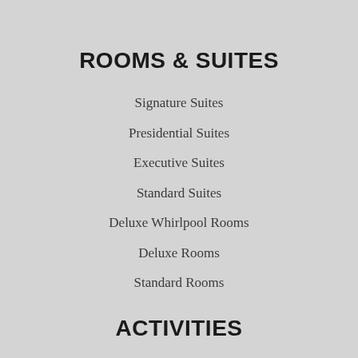ROOMS & SUITES
Signature Suites
Presidential Suites
Executive Suites
Standard Suites
Deluxe Whirlpool Rooms
Deluxe Rooms
Standard Rooms
ACTIVITIES